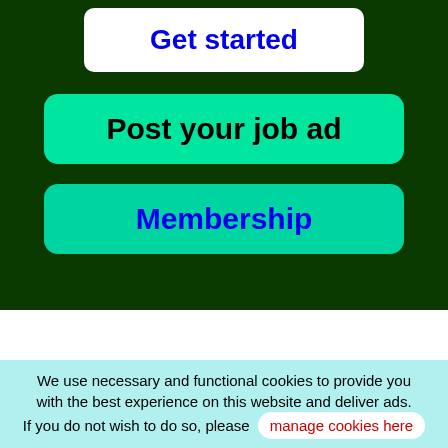Get started
Post your job ad
Membership
Features
Designed specifically for a powerful
We use necessary and functional cookies to provide you with the best experience on this website and deliver ads. If you do not wish to do so, please manage cookies here